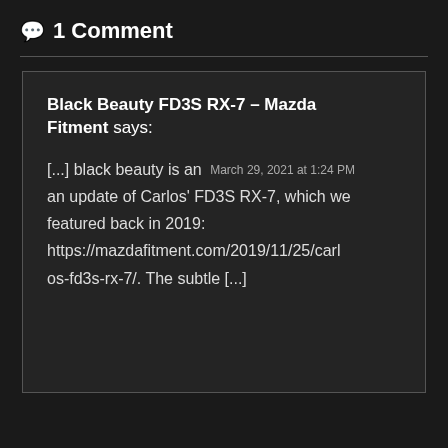💬 1 Comment
Black Beauty FD3S RX-7 – Mazda Fitment says:
[...] black beauty is an  March 29, 2021 at 1:24 PM  an update of Carlos' FD3S RX-7, which we featured back in 2019: https://mazdafitment.com/2019/11/25/carlos-fd3s-rx-7/. The subtle [...]